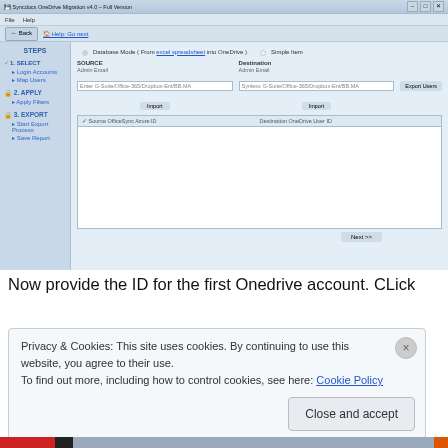[Figure (screenshot): Windows application screenshot of 'Syncdocs OneDrive Migration' tool showing migration steps sidebar (STEPS: 1. SELECT, Login Accounts, Map Users; 2. APPLY, Apply Filters; 3. EXPORT, Start Export Process, Save Report) and main panel with Database Mode/Single Item radio options, Source and Destination fields with Admin Email inputs and Import buttons, a table area with columns 'Source OfficeSync Azure ID' and 'Destination OneDrive User ID', Export Users button, Copy Selected ID link, and Next button.]
Now provide the ID for the first Onedrive account. CLick
Privacy & Cookies: This site uses cookies. By continuing to use this website, you agree to their use.
To find out more, including how to control cookies, see here: Cookie Policy
Close and accept